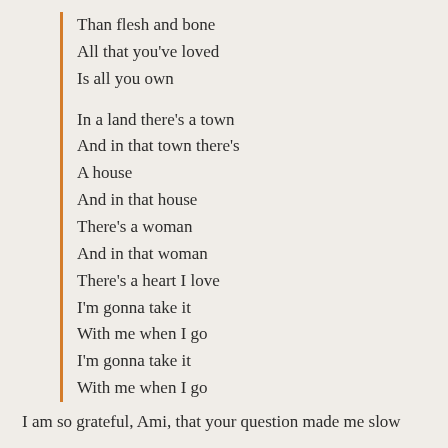Than flesh and bone
All that you've loved
Is all you own
In a land there's a town
And in that town there's
A house
And in that house
There's a woman
And in that woman
There's a heart I love
I'm gonna take it
With me when I go
I'm gonna take it
With me when I go
I am so grateful, Ami, that your question made me slow